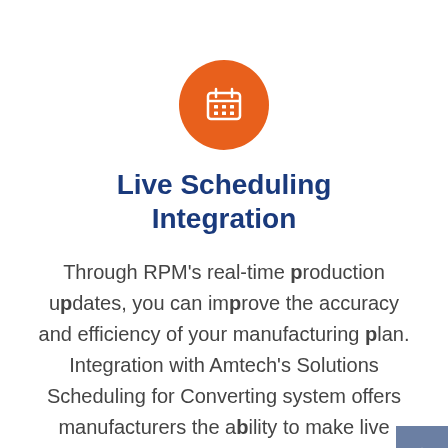[Figure (illustration): Orange circle icon with a white calendar/grid icon in the center]
Live Scheduling Integration
Through RPM's real-time production updates, you can improve the accuracy and efficiency of your manufacturing plan. Integration with Amtech's Solutions Scheduling for Converting system offers manufacturers the ability to make live schedule adjustments that maximize production and run-times.